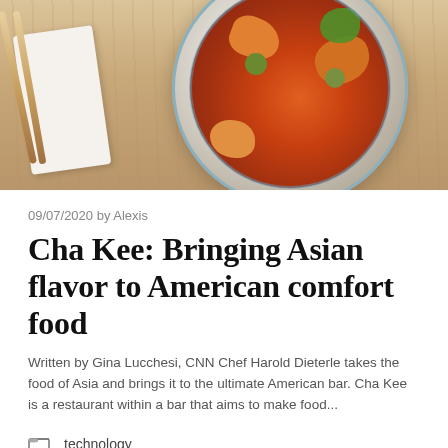[Figure (photo): Top-down photo of an Asian food dish in a blue and white patterned bowl on a wooden table, with chopsticks and a white napkin visible]
09/07/2020 by Alexis
Cha Kee: Bringing Asian flavor to American comfort food
Written by Gina Lucchesi, CNN Chef Harold Dieterle takes the food of Asia and brings it to the ultimate American bar. Cha Kee is a restaurant within a bar that aims to make food...
technology
coronavirus (2019-ncov), espn, nobel prizes, sports, video recordings, downloads and streaming